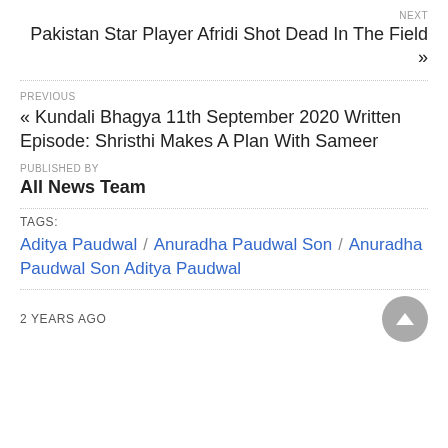NEXT
Pakistan Star Player Afridi Shot Dead In The Field »
PREVIOUS
« Kundali Bhagya 11th September 2020 Written Episode: Shristhi Makes A Plan With Sameer
PUBLISHED BY
All News Team
TAGS:
Aditya Paudwal  /  Anuradha Paudwal Son  /  Anuradha Paudwal Son Aditya Paudwal
2 YEARS AGO